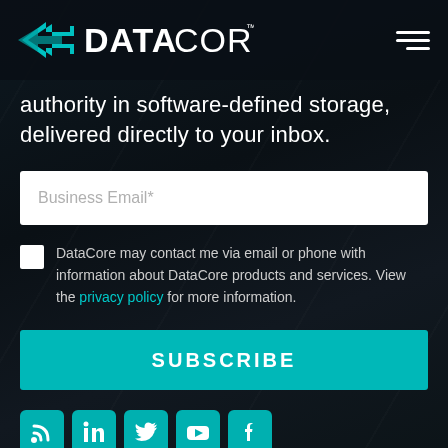DataCore logo and navigation hamburger menu
authority in software-defined storage, delivered directly to your inbox.
[Figure (screenshot): Email input field with placeholder text 'Business Email*']
DataCore may contact me via email or phone with information about DataCore products and services. View the privacy policy for more information.
[Figure (other): SUBSCRIBE button in teal/cyan color]
[Figure (other): Social media icons row: RSS feed, LinkedIn, Twitter, YouTube, Facebook — all in teal square icons]